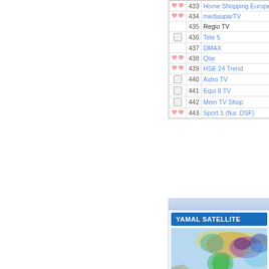|  | # | Name | Type | Enc |
| --- | --- | --- | --- | --- |
| icons | 433 | Home Shopping Europe Deutsch | TV | FTA |
| icons | 434 | mediasparTV | TV | FTA |
|  | 435 | Regio TV | TV | FTA |
| checkbox | 436 | Tele 5 | TV | FTA |
|  | 437 | DMAX | TV | FTA |
| icons | 438 | Qlar | TV | FTA |
| icons | 439 | HSE 24 Trend | TV | FTA |
| checkbox | 440 | Astro TV | TV | FTA |
| checkbox | 441 | Equi 8 TV | TV | FTA |
| checkbox | 442 | Mein TV Shop | TV | FTA |
| icons | 443 | Sport 1 (fka: DSF) | TV | FTA |
[Figure (map): Yamal Satellite coverage map showing colored beam footprints over Europe, Africa, and Asia]